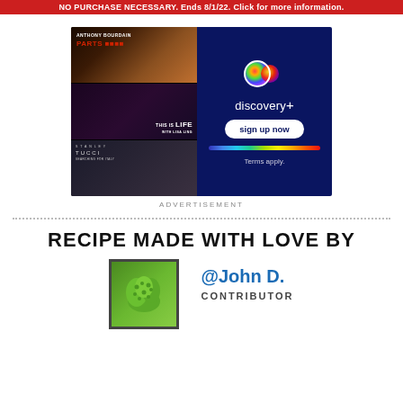NO PURCHASE NECESSARY. Ends 8/1/22. Click for more information.
[Figure (photo): Discovery+ streaming service advertisement featuring show posters for Anthony Bourdain Parts Unknown, This Is Life, and Stanley Tucci Searching for Italy on the left panel, and the Discovery+ logo with 'sign up now' button on a dark blue background on the right panel.]
ADVERTISEMENT
RECIPE MADE WITH LOVE BY
[Figure (photo): Small avatar image showing a green food item or plant on a white background with a dark border.]
@John D.
CONTRIBUTOR